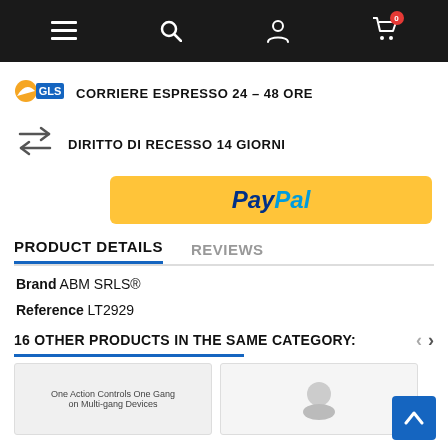Navigation bar with menu, search, account, and cart (0 items) icons
[Figure (logo): GLS courier logo with orange/yellow circular icon]
CORRIERE ESPRESSO 24 - 48 ORE
[Figure (illustration): Two arrows pointing in opposite directions (return/exchange icon)]
DIRITTO DI RECESSO 14 GIORNI
[Figure (logo): PayPal payment button - yellow background with PayPal logo]
PRODUCT DETAILS
REVIEWS
Brand ABM SRLS®
Reference LT2929
16 OTHER PRODUCTS IN THE SAME CATEGORY:
[Figure (photo): Product card showing 'One Action Controls One Gang on Multi-gang Devices']
[Figure (photo): Second product card (partially visible)]